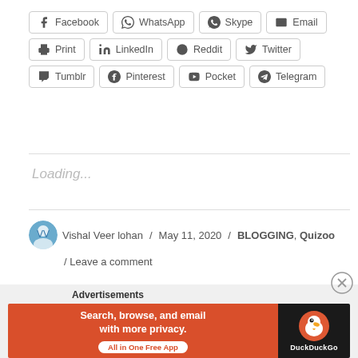Facebook WhatsApp Skype Email Print LinkedIn Reddit Twitter Tumblr Pinterest Pocket Telegram
Loading...
Vishal Veer lohan / May 11, 2020 / BLOGGING, Quizoo / Leave a comment
[Figure (infographic): Advertisement banner: DuckDuckGo — Search, browse, and email with more privacy. All in One Free App]
Advertisements